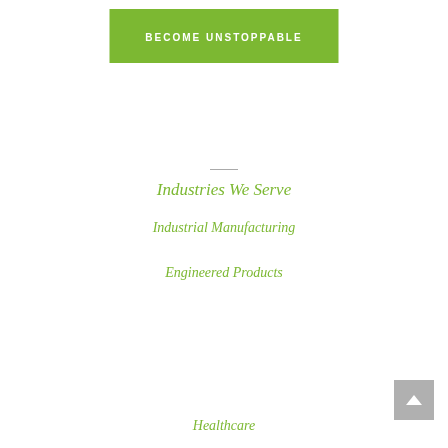BECOME UNSTOPPABLE
Industries We Serve
Industrial Manufacturing
Engineered Products
Healthcare